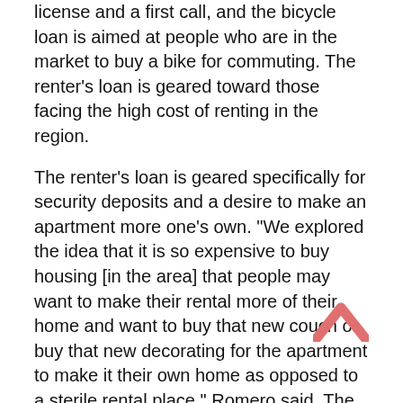license and a first call, and the bicycle loan is aimed at people who are in the market to buy a bike for commuting. The renter's loan is geared toward those facing the high cost of renting in the region.
The renter's loan is geared specifically for security deposits and a desire to make an apartment more one's own. “We explored the idea that it is so expensive to buy housing [in the area] that people may want to make their rental more of their home and want to buy that new couch or buy that new decorating for the apartment to make it their own home as opposed to a sterile rental place,” Romero said. The “spirit” behind the loan, Romero mentioned, is to get a little boost to help get into a rental. This is a small scale loan, and he stressed helping people not get into a huge loan on top of a high cost of living.
[Figure (other): An upward-pointing chevron (caret/scroll-to-top arrow) in salmon/coral color, positioned at the bottom right of the page.]
“My two kids, my wife and I went out to buy bikes and